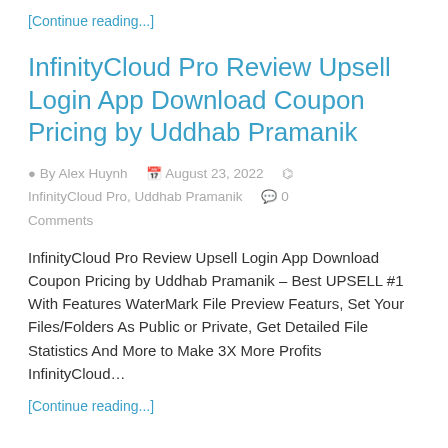[Continue reading...]
InfinityCloud Pro Review Upsell Login App Download Coupon Pricing by Uddhab Pramanik
By Alex Huynh   August 23, 2022   InfinityCloud Pro, Uddhab Pramanik   0 Comments
InfinityCloud Pro Review Upsell Login App Download Coupon Pricing by Uddhab Pramanik – Best UPSELL #1 With Features WaterMark File Preview Featurs, Set Your Files/Folders As Public or Private, Get Detailed File Statistics And More to Make 3X More Profits InfinityCloud…
[Continue reading...]